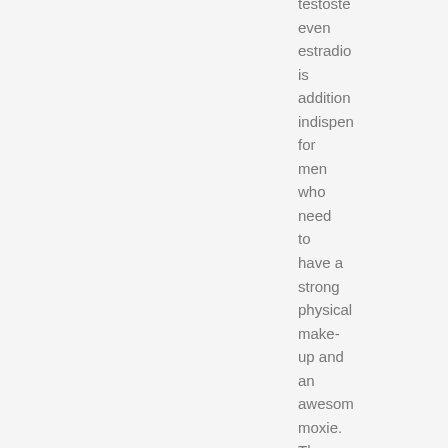testosterone even estradiol is additionally indispensable for men who need to have a strong physical make-up and an awesome moxie. The ideal